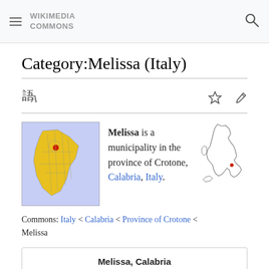WIKIMEDIA COMMONS
Category:Melissa (Italy)
[Figure (map): Map of Province of Crotone showing location of Melissa highlighted in red, on a purple/blue background]
Melissa is a municipality in the province of Crotone, Calabria, Italy.
[Figure (map): Outline map of Italy with a red dot marking the location of Melissa]
Commons: Italy < Calabria < Province of Crotone < Melissa
| Melissa, Calabria |
| Upload media |
| Wikipedia |
Melissa, Calabria
Upload media
Wikipedia